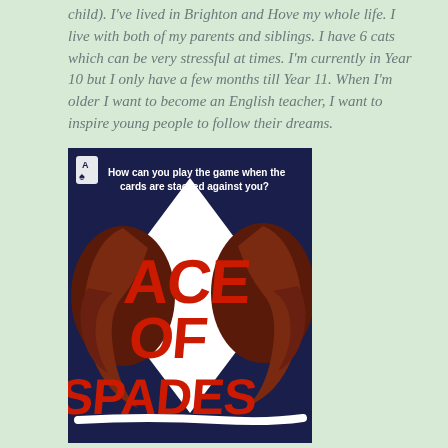child). I've lived in Brighton and Hove my whole life. I live with both of my parents and siblings. I have 6 cats which can be very stressful at times. I'm currently in Year 10 but I only have a few months till Year 11. When I'm older I want to become an English teacher, I want to inspire young people to follow their dreams.
[Figure (illustration): Book cover of 'Ace of Spades' on a dark navy blue background. Shows two silhouetted faces (left and right profiles) against a white diamond/spade shape in the center. Large red graffiti-style text reads 'ACE OF SPADES'. At top left is a small ace of spades card icon. Tagline reads 'How can you play the game when the cards are stacked against you?']